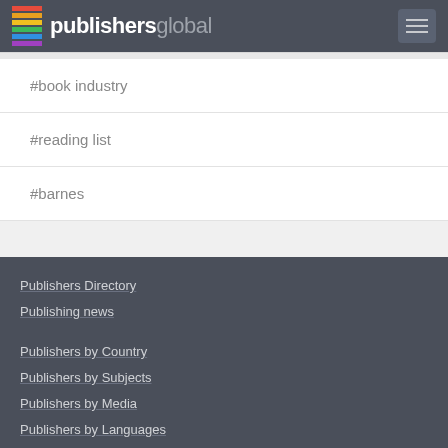publishersglobal
#book industry
#reading list
#barnes
Publishers Directory
Publishing news
Publishers by Country
Publishers by Subjects
Publishers by Media
Publishers by Languages